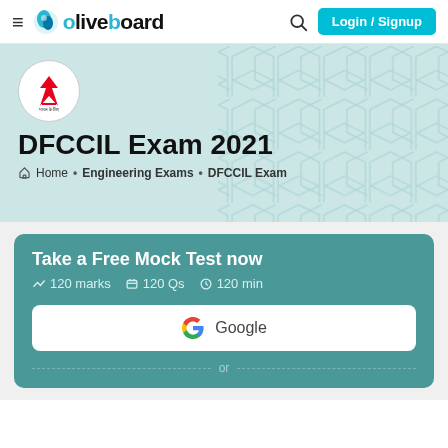oliveboard — Login / Signup
[Figure (logo): Oliveboard logo with blue droplet icon and text 'oliveboard']
DFCCIL Exam 2021
Home · Engineering Exams · DFCCIL Exam
Take a Free Mock Test now
120 marks  120 Qs  120 min
Google
or